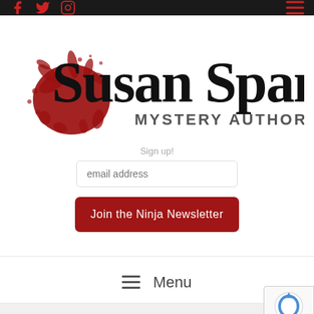Susan Spann Mystery Author – website header with social icons and hamburger menu
[Figure (logo): Susan Spann Mystery Author logo with red ink splatter and handwritten-style text]
Sign up!
email address
Join the Ninja Newsletter
≡ Menu
Temple and Toilet Slippers in